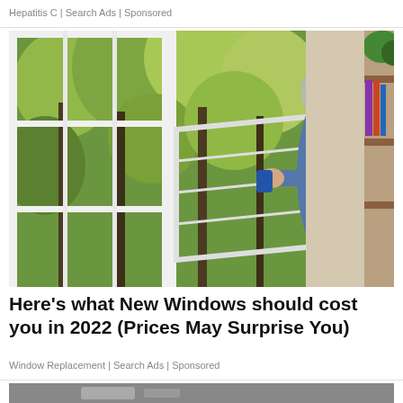Hepatitis C | Search Ads | Sponsored
[Figure (photo): Elderly woman in blue top opening a casement window, looking outside at trees; white window frame visible on left; bookshelf on right]
Here's what New Windows should cost you in 2022 (Prices May Surprise You)
Window Replacement | Search Ads | Sponsored
[Figure (photo): Partially visible second advertisement image at the bottom of the page]